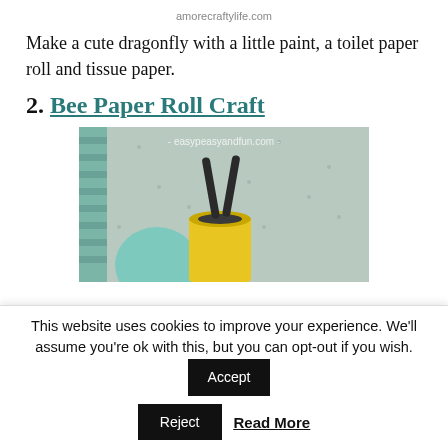amorecraftylife.com
Make a cute dragonfly with a little paint, a toilet paper roll and tissue paper.
2. Bee Paper Roll Craft
[Figure (photo): Photo of a bee paper roll craft — a yellow toilet paper roll with two dark stick antennae, sitting next to a teal/mint round object, on a speckled surface. Watermark: easypeasyandfun.com]
This website uses cookies to improve your experience. We'll assume you're ok with this, but you can opt-out if you wish.
Accept
Reject
Read More